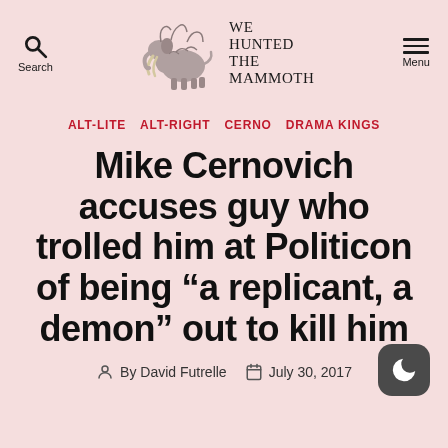We Hunted The Mammoth — Search | Menu
ALT-LITE  ALT-RIGHT  CERNO  DRAMA KINGS
Mike Cernovich accuses guy who trolled him at Politicon of being “a replicant, a demon” out to kill him
By David Futrelle   July 30, 2017